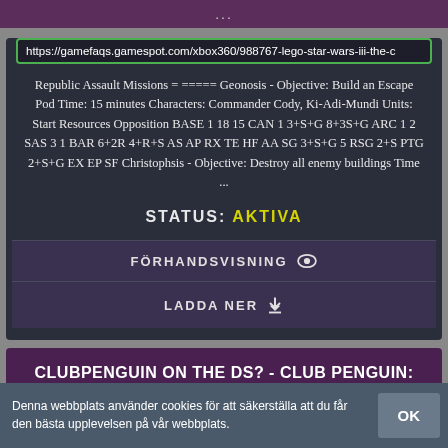...
https://gamefaqs.gamespot.com/xbox360/988767-lego-star-wars-iii-the-c
Republic Assault Missions = ===== Geonosis - Objective: Build an Escape Pod Time: 15 minutes Characters: Commander Cody, Ki-Adi-Mundi Units: Start Resources Opposition BASE 1 18 15 CAN 1 3+S+G 8+3S+G ARC 1 2 SAS 3 1 BAR 6+2R 4+R+S AS AP RX TE HF AA SG 3+S+G 5 RSG 2+S PTG 2+S+G EX EP SF Christophsis - Objective: Destroy all enemy buildings Time ...
STATUS: AKTIVA
FÖRHANDSVISNING
LADDA NER
CLUBPENGUIN ON THE DS? - CLUB PENGUIN: ELITE PENGUIN FORCE
Denna webbplats använder cookies för att säkerställa att du får den bästa upplevelsen på vår webbplats.